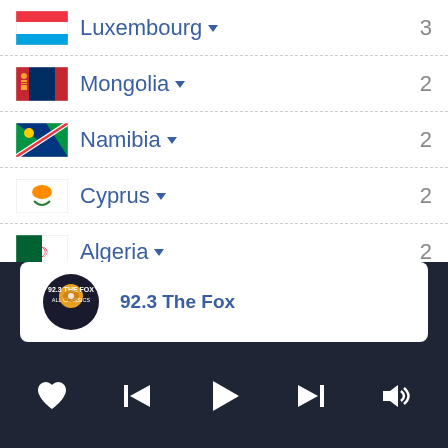Luxembourg 3
Mongolia 2
Namibia 2
Cyprus 2
Algeria 2
Isle of Man 2
Brunei 2
Morocco 2
92.3 The Fox